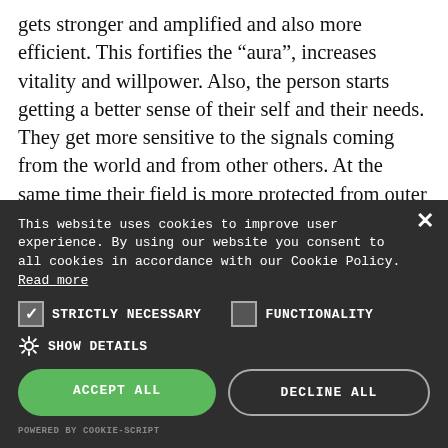gets stronger and amplified and also more efficient. This fortifies the “aura”, increases vitality and willpower. Also, the person starts getting a better sense of their self and their needs. They get more sensitive to the signals coming from the world and from other others. At the same time their field is more protected from outer influences. The various subtle energy flows get concentrated towards a main central flow, called the central channel (sushumna nadi).
This website uses cookies to improve user experience. By using our website you consent to all cookies in accordance with our Cookie Policy. Read more
STRICTLY NECESSARY
FUNCTIONALITY
SHOW DETAILS
ACCEPT ALL
DECLINE ALL
POWERED BY COOKIE-SCRIPT